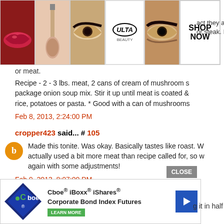[Figure (other): Ulta beauty advertisement banner with makeup images (lips, brush, eye) and SHOP NOW button]
or meat.
Recipe - 2 - 3 lbs. meat, 2 cans of cream of mushroom s package onion soup mix. Stir it up until meat is coated & rice, potatoes or pasta. * Good with a can of mushrooms
Feb 8, 2013, 2:24:00 PM
cropper423 said... # 105
Made this tonite. Was okay. Basically tastes like roast. W actually used a bit more meat than recipe called for, so w again with some adjustments!
Feb 9, 2013, 8:07:00 PM
[Figure (other): Cboe iBoxx iShares Corporate Bond Index Futures advertisement with CLOSE button]
g it in half